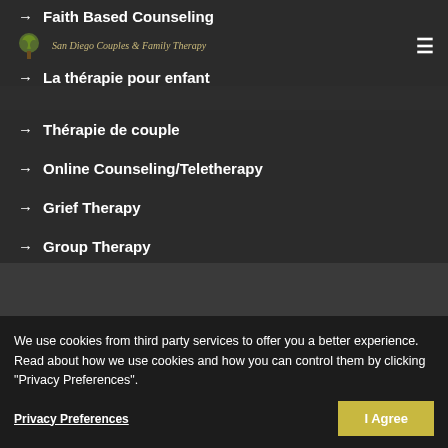San Diego Couples & Family Therapy
Faith Based Counseling
La thérapie pour enfant
Thérapie de couple
Online Counseling/Teletherapy
Grief Therapy
Group Therapy
We use cookies from third party services to offer you a better experience. Read about how we use cookies and how you can control them by clicking "Privacy Preferences".
Privacy Preferences
I Agree